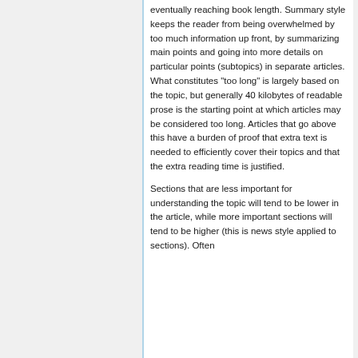eventually reaching book length. Summary style keeps the reader from being overwhelmed by too much information up front, by summarizing main points and going into more details on particular points (subtopics) in separate articles. What constitutes "too long" is largely based on the topic, but generally 40 kilobytes of readable prose is the starting point at which articles may be considered too long. Articles that go above this have a burden of proof that extra text is needed to efficiently cover their topics and that the extra reading time is justified.
Sections that are less important for understanding the topic will tend to be lower in the article, while more important sections will tend to be higher (this is news style applied to sections). Often